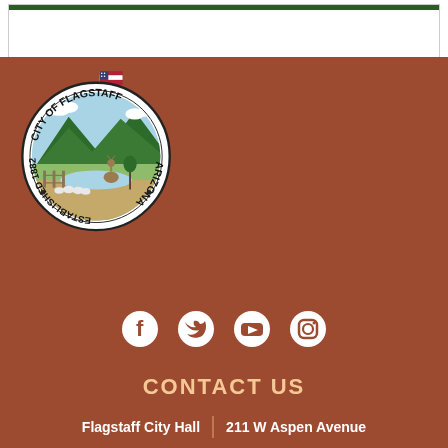[Figure (logo): City of Flagstaff Arizona seal, established 1882, circular seal with mountains, deer, fence, flag, and landscape scene]
[Figure (infographic): Social media icons: Facebook, Twitter, YouTube, Instagram]
CONTACT US
Flagstaff City Hall | 211 W Aspen Avenue